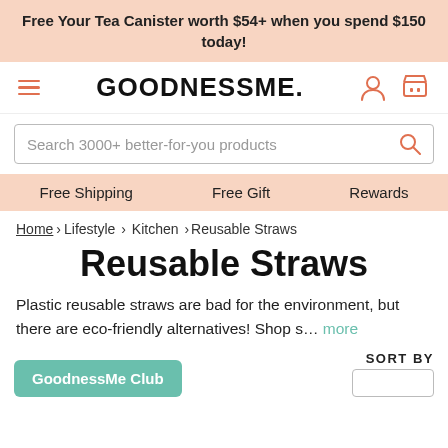Free Your Tea Canister worth $54+ when you spend $150 today!
[Figure (logo): GoodnessMe. logo with hamburger menu, user icon, and cart icon]
Search 3000+ better-for-you products
Free Shipping   Free Gift   Rewards
Home › Lifestyle › Kitchen › Reusable Straws
Reusable Straws
Plastic reusable straws are bad for the environment, but there are eco-friendly alternatives! Shop s... more
GoodnessMe Club
SORT BY